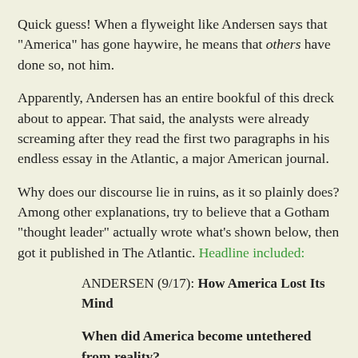Quick guess! When a flyweight like Andersen says that "America" has gone haywire, he means that others have done so, not him.
Apparently, Andersen has an entire bookful of this dreck about to appear. That said, the analysts were already screaming after they read the first two paragraphs in his endless essay in the Atlantic, a major American journal.
Why does our discourse lie in ruins, as it so plainly does? Among other explanations, try to believe that a Gotham "thought leader" actually wrote what's shown below, then got it published in The Atlantic. Headline included:
ANDERSEN (9/17): How America Lost Its Mind
When did America become untethered from reality?
I first noticed our national lurch toward fantasy in 2004, after President George W. Bush's political mastermind, Karl Rove, came up with the remarkable phrase reality-based community. People